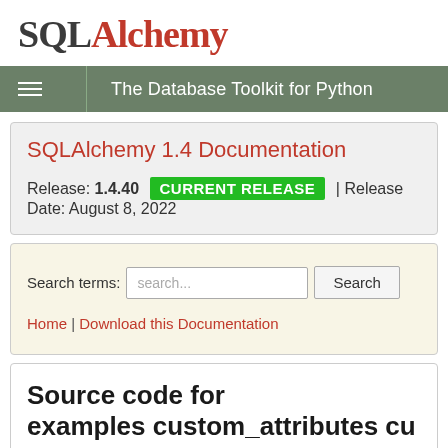[Figure (logo): SQLAlchemy logo with 'SQL' in dark gray serif and 'Alchemy' in red serif font]
The Database Toolkit for Python
SQLAlchemy 1.4 Documentation
Release: 1.4.40 CURRENT RELEASE | Release Date: August 8, 2022
Search terms: search... Search
Home | Download this Documentation
Source code for examples custom_attributes cu…